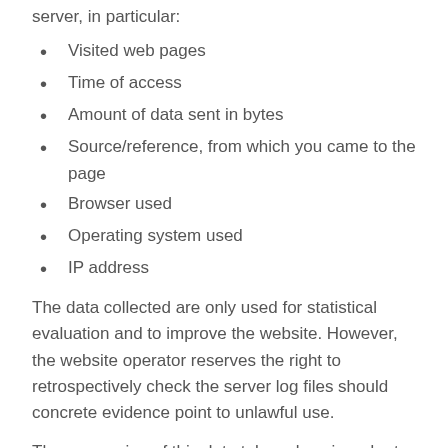server, in particular:
Visited web pages
Time of access
Amount of data sent in bytes
Source/reference, from which you came to the page
Browser used
Operating system used
IP address
The data collected are only used for statistical evaluation and to improve the website. However, the website operator reserves the right to retrospectively check the server log files should concrete evidence point to unlawful use.
The processing of this data takes place in order to enable the use of the Internet pages you have accessed, for statistical purposes, to improve our internet presence and security against illegal cyber attacks, as well as to exercise, assert or defend against legal claims. Your IP address will only be stored for as long as necessary to